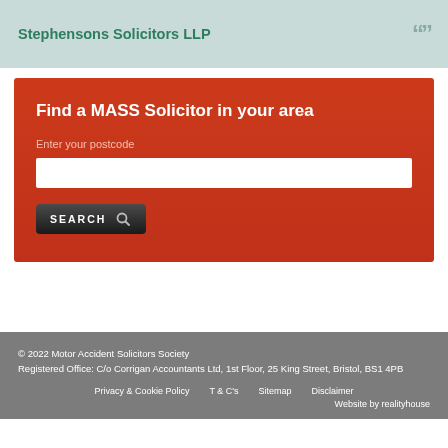Stephensons Solicitors LLP
Find a MASS Solicitor in your area
Enter your postcode
[Figure (screenshot): Search input field and SEARCH button on red background]
© 2022 Motor Accident Solicitors Society
Registered Office: C/o Corrigan Accountants Ltd, 1st Floor, 25 King Street, Bristol, BS1 4PB
Privacy & Cookie Policy    T & C's    Sitemap    Disclaimer
Website by realityhouse